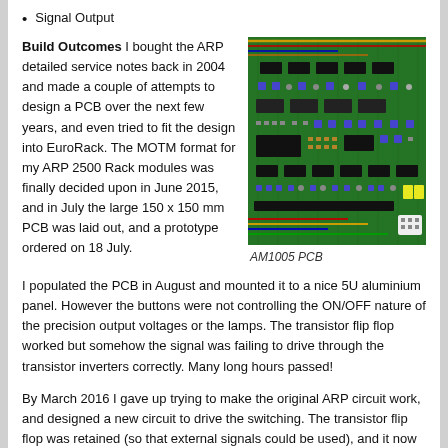Signal Output
Build Outcomes I bought the ARP detailed service notes back in 2004 and made a couple of attempts to design a PCB over the next few years, and even tried to fit the design into EuroRack. The MOTM format for my ARP 2500 Rack modules was finally decided upon in June 2015, and in July the large 150 x 150 mm PCB was laid out, and a prototype ordered on 18 July.
[Figure (photo): Green PCB (AM1005 PCB) showing electronic components including ICs, capacitors, and wiring on a circuit board]
AM1005 PCB
I populated the PCB in August and mounted it to a nice 5U aluminium panel. However the buttons were not controlling the ON/OFF nature of the precision output voltages or the lamps. The transistor flip flop worked but somehow the signal was failing to drive through the transistor inverters correctly. Many long hours passed!
By March 2016 I gave up trying to make the original ARP circuit work, and designed a new circuit to drive the switching. The transistor flip flop was retained (so that external signals could be used), and it now drove a CMOS Schmitt trigger inverters (40106), followed by high quality CMOS switches controlling the CV and audio paths (DG418 and DG419). The